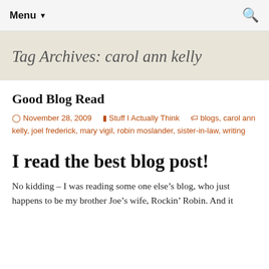Menu ▼   🔍
Tag Archives: carol ann kelly
Good Blog Read
🕐 November 28, 2009   📁 Stuff I Actually Think   🏷 blogs, carol ann kelly, joel frederick, mary vigil, robin moslander, sister-in-law, writing
I read the best blog post!
No kidding – I was reading some one else's blog, who just happens to be my brother Joe's wife, Rockin' Robin. And it